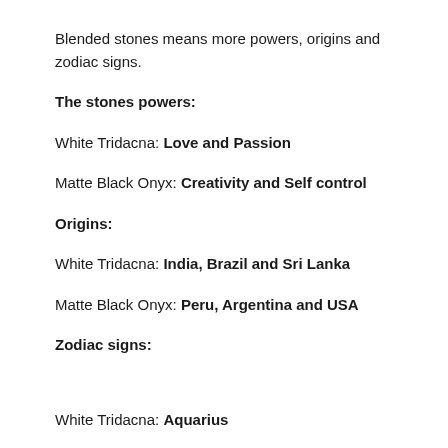Blended stones means more powers, origins and zodiac signs.
The stones powers:
White Tridacna: Love and Passion
Matte Black Onyx: Creativity and Self control
Origins:
White Tridacna: India, Brazil and Sri Lanka
Matte Black Onyx: Peru, Argentina and USA
Zodiac signs:
White Tridacna: Aquarius